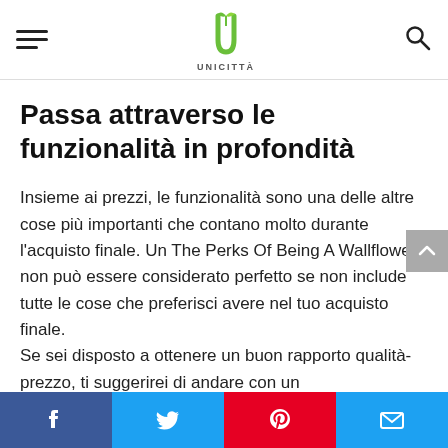UNICITTÀ
Passa attraverso le funzionalità in profondità
Insieme ai prezzi, le funzionalità sono una delle altre cose più importanti che contano molto durante l'acquisto finale. Un The Perks Of Being A Wallflower non può essere considerato perfetto se non include tutte le cose che preferisci avere nel tuo acquisto finale.
Se sei disposto a ottenere un buon rapporto qualità-prezzo, ti suggerirei di andare con un
Facebook | Twitter | Pinterest | Email